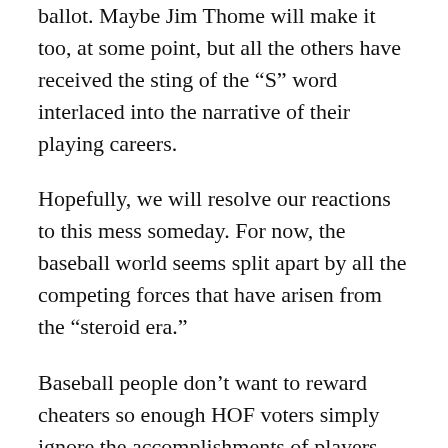ballot. Maybe Jim Thome will make it too, at some point, but all the others have received the sting of the “S” word interlaced into the narrative of their playing careers.
Hopefully, we will resolve our reactions to this mess someday. For now, the baseball world seems split apart by all the competing forces that have arisen from the “steroid era.”
Baseball people don’t want to reward cheaters so enough HOF voters simply ignore the accomplishments of players they either know or strongly suspect of cheating. On the other hand, a lot of us don’t much care for a Hall of Fame concept that ignores some of the game’s premier statistical  achievements because of either the scandal associated with their accomplishment (Pete Rose) or the unfair ways they achieved their totals (McGwire, Sosa, et al). There are also those who want the Hall of Fame...